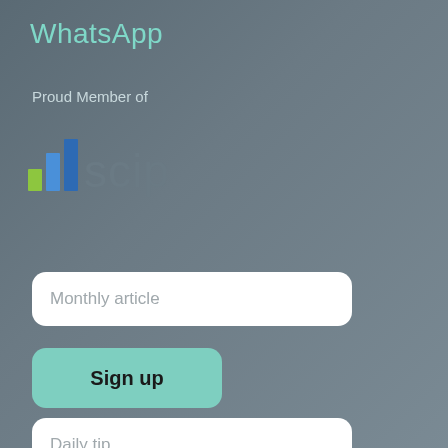WhatsApp
Proud Member of
[Figure (logo): SCIP logo with colored bar chart icon (green and blue bars) followed by 'scip' text in gray]
Monthly article
Sign up
Daily tip